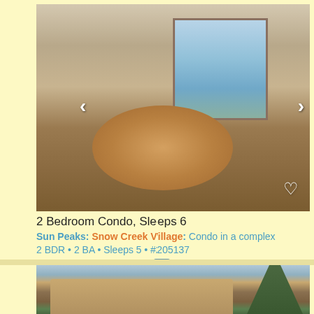[Figure (photo): Interior dining room photo showing a round wooden table with chairs, sliding glass door/balcony view of snowy mountain scenery, with navigation arrows on left and right sides and a heart icon in lower right]
2 Bedroom Condo, Sleeps 6
Sun Peaks: Snow Creek Village: Condo in a complex
2 BDR • 2 BA • Sleeps 5 • #205137
272 to 1,032 CAD/night cc
[Figure (photo): Exterior photo of a large wooden chalet-style building with multiple windows and steep rooflines, surrounded by evergreen trees with cloudy sky background]